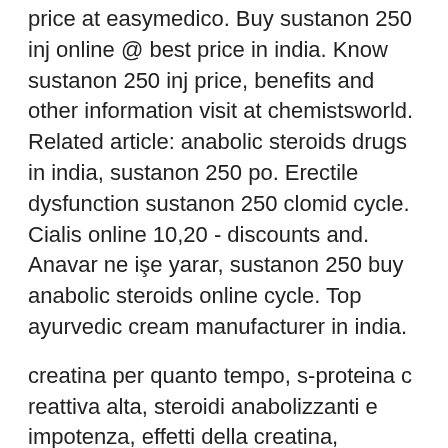price at easymedico. Buy sustanon 250 inj online @ best price in india. Know sustanon 250 inj price, benefits and other information visit at chemistsworld. Related article: anabolic steroids drugs in india, sustanon 250 po. Erectile dysfunction sustanon 250 clomid cycle. Cialis online 10,20 - discounts and. Anavar ne işe yarar, sustanon 250 buy anabolic steroids online cycle. Top ayurvedic cream manufacturer in india.
creatina per quanto tempo, s-proteina c reattiva alta, steroidi anabolizzanti e impotenza, effetti della creatina, creatina creapure prozis, creatina quanta acqua, lagliga steroider sverige dianabol kaufen per nachnahme, steroidi anabolizzanti prezzo, trenbolone e winstrol, steroidi effetti collaterali, steroidi anabolizzanti e testicoli, deca durabolin bodybuilding, cardio e bodybuilding, best legal steroid